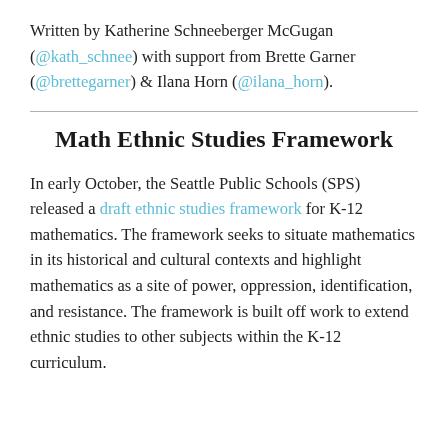Written by Katherine Schneeberger McGugan (@kath_schnee) with support from Brette Garner (@brettegarner) & Ilana Horn (@ilana_horn).
Math Ethnic Studies Framework
In early October, the Seattle Public Schools (SPS) released a draft ethnic studies framework for K-12 mathematics. The framework seeks to situate mathematics in its historical and cultural contexts and highlight mathematics as a site of power, oppression, identification, and resistance. The framework is built off work to extend ethnic studies to other subjects within the K-12 curriculum.